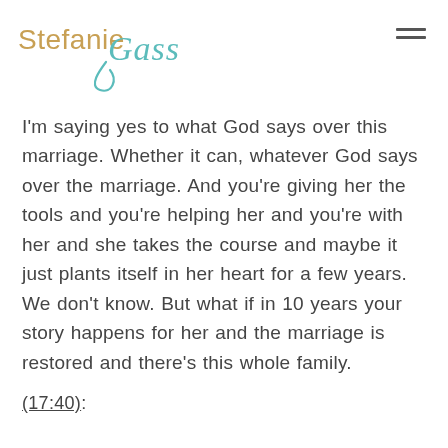Stefanie Gass
I'm saying yes to what God says over this marriage. Whether it can, whatever God says over the marriage. And you're giving her the tools and you're helping her and you're with her and she takes the course and maybe it just plants itself in her heart for a few years. We don't know. But what if in 10 years your story happens for her and the marriage is restored and there's this whole family.
(17:40):